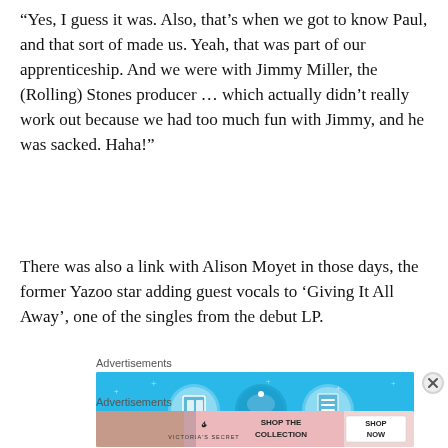“Yes, I guess it was. Also, that’s when we got to know Paul, and that sort of made us. Yeah, that was part of our apprenticeship. And we were with Jimmy Miller, the (Rolling) Stones producer … which actually didn’t really work out because we had too much fun with Jimmy, and he was sacked. Haha!”
There was also a link with Alison Moyet in those days, the former Yazoo star adding guest vocals to ‘Giving It All Away’, one of the singles from the debut LP.
Advertisements
[Figure (illustration): Blue advertisement banner with three circular icons representing home/real estate services]
Advertisements
[Figure (illustration): Victoria's Secret advertisement: pink and white banner with VS logo, woman's photo, text SHOP THE COLLECTION and SHOP NOW button]